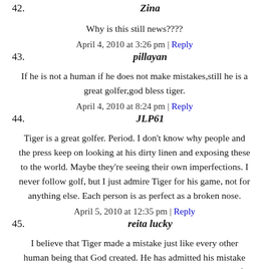42. Zina
Why is this still news????
April 4, 2010 at 3:26 pm | Reply
43. pillayan
If he is not a human if he does not make mistakes,still he is a great golfer,god bless tiger.
April 4, 2010 at 8:24 pm | Reply
44. JLP61
Tiger is a great golfer. Period. I don't know why people and the press keep on looking at his dirty linen and exposing these to the world. Maybe they're seeing their own imperfections. I never follow golf, but I just admire Tiger for his game, not for anything else. Each person is as perfect as a broken nose.
April 5, 2010 at 12:35 pm | Reply
45. reita lucky
I believe that Tiger made a mistake just like every other human being that God created. He has admitted his mistake and it takes a real man to admit that he has done wrong. If